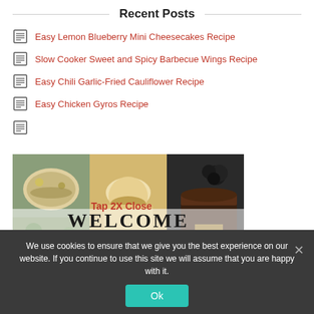Recent Posts
Easy Lemon Blueberry Mini Cheesecakes Recipe
Slow Cooker Sweet and Spicy Barbecue Wings Recipe
Easy Chili Garlic-Fried Cauliflower Recipe
Easy Chicken Gyros Recipe
[Figure (photo): Food collage photo with WELCOME TO MY text overlay]
Tap 2X Close
We use cookies to ensure that we give you the best experience on our website. If you continue to use this site we will assume that you are happy with it.